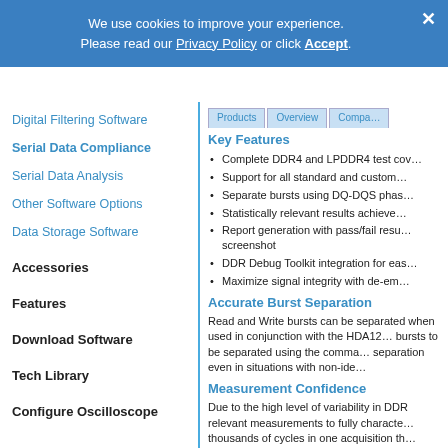We use cookies to improve your experience. Please read our Privacy Policy or click Accept.
Digital Filtering Software
Serial Data Compliance
Serial Data Analysis
Other Software Options
Data Storage Software
Accessories
Features
Download Software
Tech Library
Configure Oscilloscope
Key Features
Complete DDR4 and LPDDR4 test cov…
Support for all standard and custom…
Separate bursts using DQ-DQS phas…
Statistically relevant results achieve…
Report generation with pass/fail resu… screenshot
DDR Debug Toolkit integration for eas…
Maximize signal integrity with de-em…
Accurate Burst Separation
Read and Write bursts can be separated when used in conjunction with the HDA12… bursts to be separated using the comma… separation even in situations with non-ide…
Measurement Confidence
Due to the high level of variability in DDR relevant measurements to fully characte… thousands of cycles in one acquisition th…